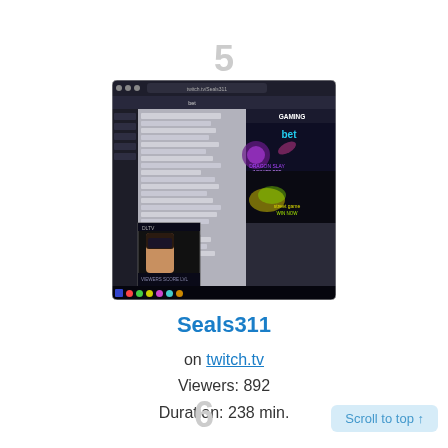5
[Figure (screenshot): Screenshot of a Twitch stream showing a betting website interface with gaming advertisements on the right side and a webcam feed at bottom left showing a streamer.]
Seals311
on twitch.tv
Viewers: 892
Duration: 238 min.
6
Scroll to top ↑